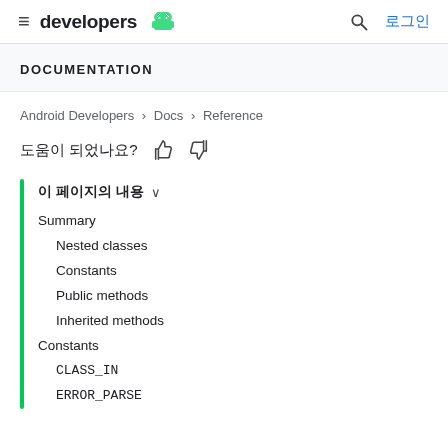developers 🤖  로그인
DOCUMENTATION
Android Developers > Docs > Reference
도움이 되었나요? 👍 👎
이 페이지의 내용 ∨
Summary
Nested classes
Constants
Public methods
Inherited methods
Constants
CLASS_IN
ERROR_PARSE